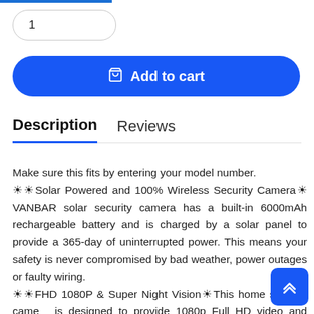[Figure (screenshot): Blue progress bar at the top of the page]
1
Add to cart
Description
Reviews
Make sure this fits by entering your model number. ☀☀Solar Powered and 100% Wireless Security Camera☀VANBAR solar security camera has a built-in 6000mAh rechargeable battery and is charged by a solar panel to provide a 365-day of uninterrupted power. This means your safety is never compromised by bad weather, power outages or faulty wiring. ☀☀FHD 1080P & Super Night Vision☀This home security camera is designed to provide 1080p Full HD video and detailed night vision with a 140° viewing angle and true colors throughout the day. When it's dark, the wireless outdoor security camera will